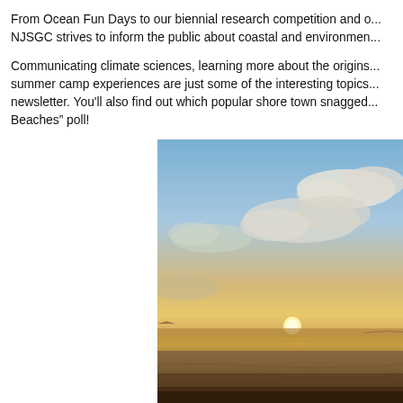From Ocean Fun Days to our biennial research competition and o... NJSGC strives to inform the public about coastal and environmen...
Communicating climate sciences, learning more about the origins... summer camp experiences are just some of the interesting topics... newsletter. You'll also find out which popular shore town snagged... Beaches" poll!
[Figure (photo): Beach sunset photo showing a wide sandy beach with calm water reflecting sunlight, a partly cloudy sky with golden and orange hues near the horizon, and blue sky above with scattered clouds.]